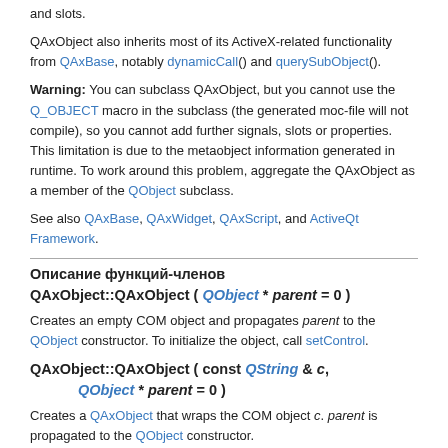and slots.
QAxObject also inherits most of its ActiveX-related functionality from QAxBase, notably dynamicCall() and querySubObject().
Warning: You can subclass QAxObject, but you cannot use the Q_OBJECT macro in the subclass (the generated moc-file will not compile), so you cannot add further signals, slots or properties. This limitation is due to the metaobject information generated in runtime. To work around this problem, aggregate the QAxObject as a member of the QObject subclass.
See also QAxBase, QAxWidget, QAxScript, and ActiveQt Framework.
Описание функций-членов
QAxObject::QAxObject ( QObject * parent = 0 )
Creates an empty COM object and propagates parent to the QObject constructor. To initialize the object, call setControl.
QAxObject::QAxObject ( const QString & c,
      QObject * parent = 0 )
Creates a QAxObject that wraps the COM object c. parent is propagated to the QObject constructor.